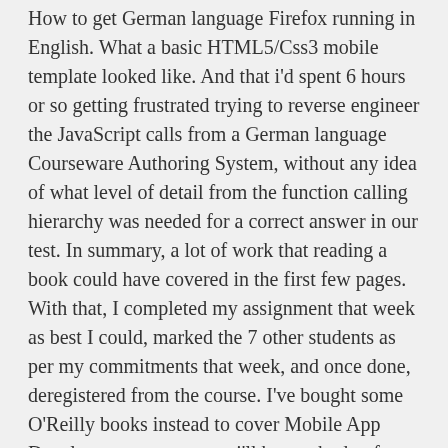How to get German language Firefox running in English. What a basic HTML5/Css3 mobile template looked like. And that i'd spent 6 hours or so getting frustrated trying to reverse engineer the JavaScript calls from a German language Courseware Authoring System, without any idea of what level of detail from the function calling hierarchy was needed for a correct answer in our test. In summary, a lot of work that reading a book could have covered in the first few pages. With that, I completed my assignment that week as best I could, marked the 7 other students as per my commitments that week, and once done, deregistered from the course. I've bought some O'Reilly books instead to cover Mobile App Development, so am sure i'll have a body of expertise to build from soon.
Next week I will be starting the Google "Making Sense of Data" course which looks very impressive and should improve my foundation and linkedin skills...